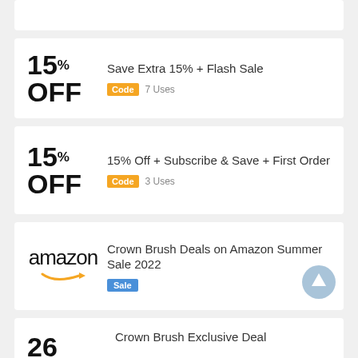[Figure (other): Partial card at top, clipped]
Save Extra 15% + Flash Sale
Code 7 Uses
15% Off + Subscribe & Save + First Order
Code 3 Uses
Crown Brush Deals on Amazon Summer Sale 2022
Sale
Crown Brush Exclusive Deal